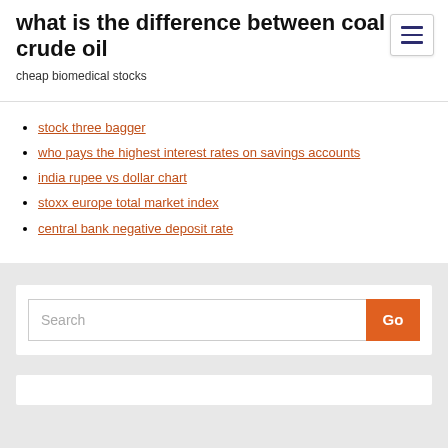what is the difference between coal and crude oil
cheap biomedical stocks
stock three bagger
who pays the highest interest rates on savings accounts
india rupee vs dollar chart
stoxx europe total market index
central bank negative deposit rate
Search